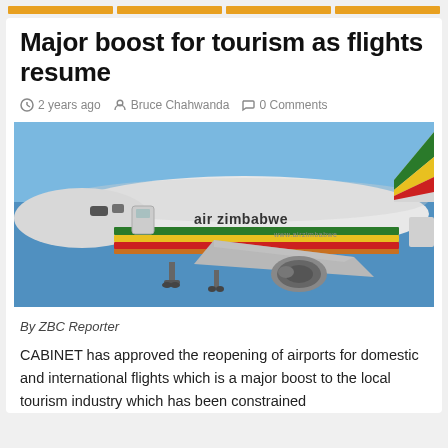[navigation bar with colored tabs]
Major boost for tourism as flights resume
2 years ago   Bruce Chahwanda   0 Comments
[Figure (photo): Air Zimbabwe aircraft in flight against a blue sky, showing the airline's distinctive green, yellow and red stripe livery]
By ZBC Reporter
CABINET has approved the reopening of airports for domestic and international flights which is a major boost to the local tourism industry which has been constrained